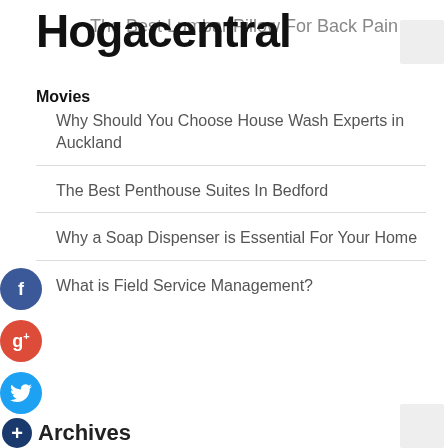Hogacentral
The Best Lumbar Pillow For Back Pain
Movies
Why Should You Choose House Wash Experts in Auckland
The Best Penthouse Suites In Bedford
Why a Soap Dispenser is Essential For Your Home
What is Field Service Management?
Archives
August 2022